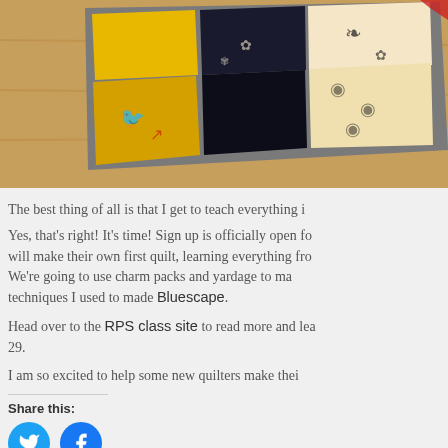[Figure (photo): A patchwork quilt with yellow, black, and cream fabric squares laid on a wooden floor, featuring floral and damask patterns.]
The best thing of all is that I get to teach everything i
Yes, that's right! It's time! Sign up is officially open for will make their own first quilt, learning everything fro We're going to use charm packs and yardage to ma techniques I used to made Bluescape.
Head over to the RPS class site to read more and lear 29.
I am so excited to help some new quilters make thei
Share this:
[Figure (illustration): Twitter and Facebook share buttons (circular icons in blue)]